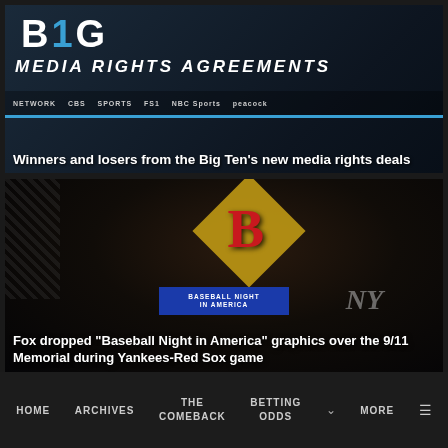[Figure (screenshot): Big Ten media rights agreements graphic with network logos (CBS, Fox, NBC, Peacock)]
Winners and losers from the Big Ten's new media rights deals
[Figure (photo): Dark photo of baseball glove and Boston Red Sox 'B' logo diamond graphic with 'Baseball Night in America' banner]
Fox dropped “Baseball Night in America” graphics over the 9/11 Memorial during Yankees-Red Sox game
HOME  ARCHIVES  THE COMEBACK  BETTING ODDS  MORE